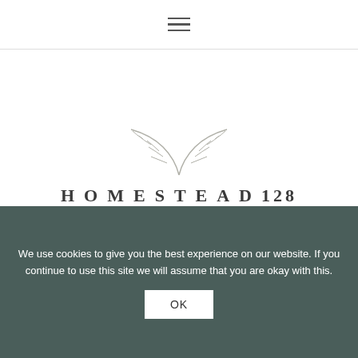≡ (hamburger menu icon)
[Figure (logo): Homestead 128 logo with branch illustration above text 'HOMESTEAD128' and tagline 'dwelling with purpose' in red italic]
≡ (second hamburger menu icon)
We use cookies to give you the best experience on our website. If you continue to use this site we will assume that you are okay with this.
OK